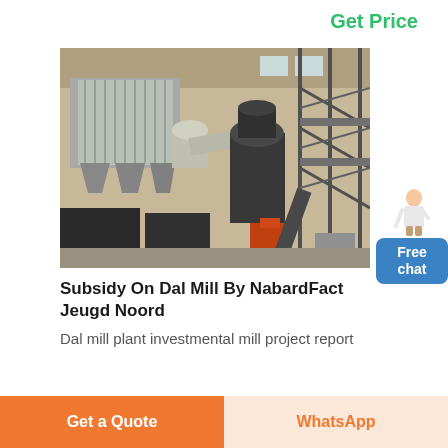Get Price
[Figure (photo): Industrial dal mill plant interior showing large machinery, dust collectors, conveyor systems, metal framework, and industrial hoppers inside a warehouse building.]
Subsidy On Dal Mill By NabardFact Jeugd Noord
Dal mill plant investmental mill project report
[Figure (illustration): Customer service representative chat widget with Free chat button]
Get a Quote
WhatsApp